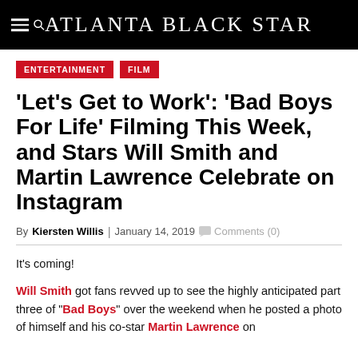Atlanta Black Star
ENTERTAINMENT
FILM
'Let's Get to Work': 'Bad Boys For Life' Filming This Week, and Stars Will Smith and Martin Lawrence Celebrate on Instagram
By Kiersten Willis | January 14, 2019  Comments (0)
It's coming!
Will Smith got fans revved up to see the highly anticipated part three of "Bad Boys" over the weekend when he posted a photo of himself and his co-star Martin Lawrence on